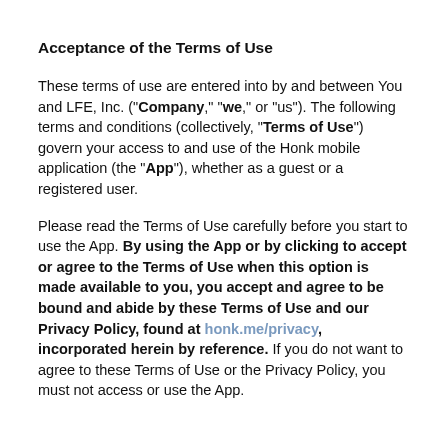Acceptance of the Terms of Use
These terms of use are entered into by and between You and LFE, Inc. ("Company," "we," or "us"). The following terms and conditions (collectively, "Terms of Use") govern your access to and use of the Honk mobile application (the "App"), whether as a guest or a registered user.
Please read the Terms of Use carefully before you start to use the App. By using the App or by clicking to accept or agree to the Terms of Use when this option is made available to you, you accept and agree to be bound and abide by these Terms of Use and our Privacy Policy, found at honk.me/privacy, incorporated herein by reference. If you do not want to agree to these Terms of Use or the Privacy Policy, you must not access or use the App.